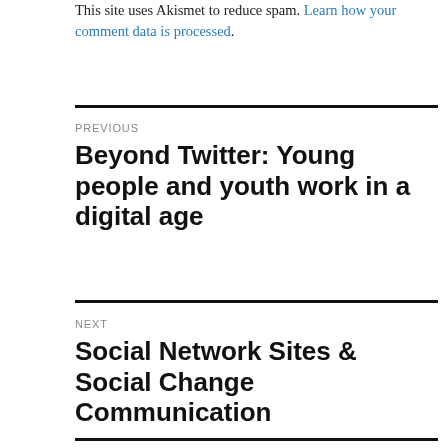This site uses Akismet to reduce spam. Learn how your comment data is processed.
PREVIOUS
Beyond Twitter: Young people and youth work in a digital age
NEXT
Social Network Sites & Social Change Communication